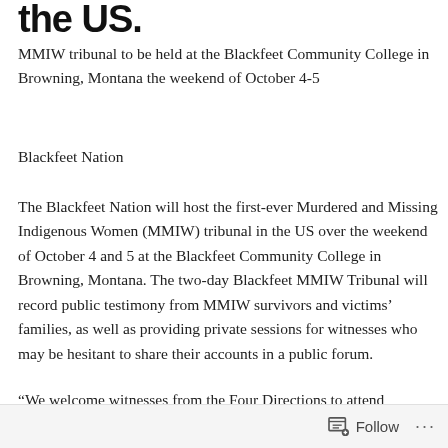the US.
MMIW tribunal to be held at the Blackfeet Community College in Browning, Montana the weekend of October 4-5
Blackfeet Nation
The Blackfeet Nation will host the first-ever Murdered and Missing Indigenous Women (MMIW) tribunal in the US over the weekend of October 4 and 5 at the Blackfeet Community College in Browning, Montana. The two-day Blackfeet MMIW Tribunal will record public testimony from MMIW survivors and victims' families, as well as providing private sessions for witnesses who may be hesitant to share their accounts in a public forum.
“We welcome witnesses from the Four Directions to attend
Follow